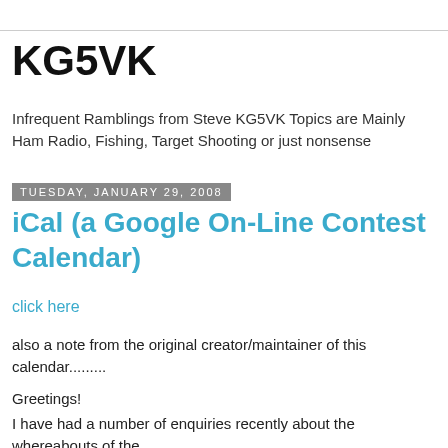KG5VK
Infrequent Ramblings from Steve KG5VK Topics are Mainly Ham Radio, Fishing, Target Shooting or just nonsense
Tuesday, January 29, 2008
iCal (a Google On-Line Contest Calendar)
click here
also a note from the original creator/maintainer of this calendar.........
Greetings!
I have had a number of enquiries recently about the whereabouts of the iCal contest calendar I was maintaining. I say 'was', because